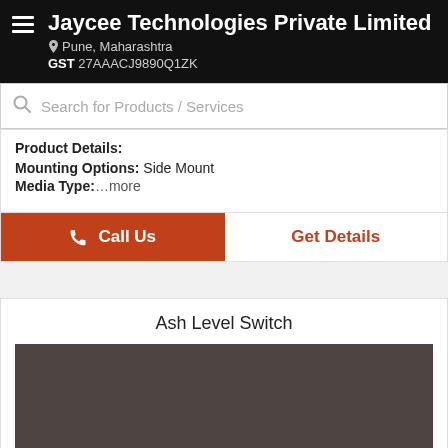Jaycee Technologies Private Limited
Pune, Maharashtra
GST 27AAACJ9890Q1ZK
Search for Products / Services
Product Details:
Mounting Options: Side Mount
Media Type: ...more
Call Us
Get Details
Ash Level Switch
[Figure (photo): Dark brownish-grey product image placeholder for Ash Level Switch]